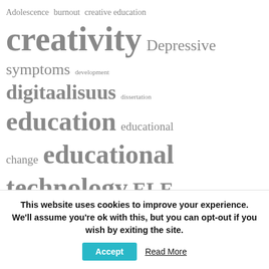[Figure (infographic): Tag cloud with education-related keywords in varying sizes and weights, including: Adolescence, burnout, creative education, creativity, Depressive symptoms, development, digitaalisuus, dissertation, education, educational change, educational technology, ELE, engagement, engaging learning environment, event, finland, flow, FritjofSahlstrom, growing mind, keksintöpedagogiikka, learning, learning environment, LFEO2014, life satisfaction]
This website uses cookies to improve your experience. We'll assume you're ok with this, but you can opt-out if you wish by exiting the site. Accept Read More